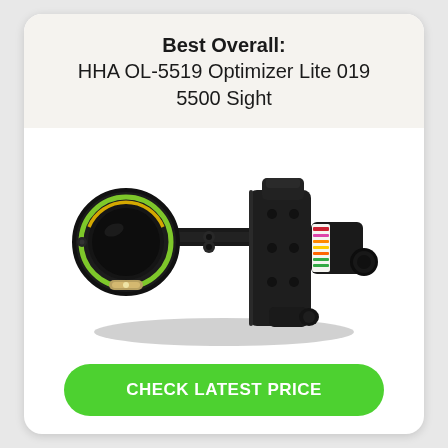Best Overall: HHA OL-5519 Optimizer Lite 019 5500 Sight
[Figure (photo): HHA OL-5519 Optimizer Lite 019 5500 bow sight — black aluminum single-pin archery sight with circular scope lens (green ring accent), adjustable bracket, and colored yardage tape strip on the right side.]
CHECK LATEST PRICE